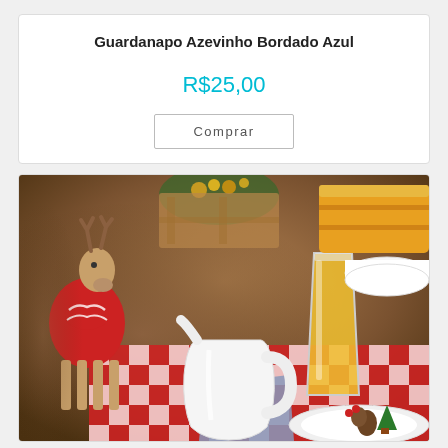Guardanapo Azevinho Bordado Azul
R$25,00
Comprar
[Figure (photo): A festive Christmas table setting with a red knitted reindeer figurine, a white ceramic pitcher, a glass of orange juice, a layered cake, red and white checkered tablecloth, white plates, and Christmas decorations with pine cones and holly.]